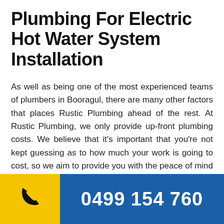Plumbing For Electric Hot Water System Installation
As well as being one of the most experienced teams of plumbers in Booragul, there are many other factors that places Rustic Plumbing ahead of the rest. At Rustic Plumbing, we only provide up-front plumbing costs. We believe that it’s important that you’re not kept guessing as to how much your work is going to cost, so we aim to provide you with the peace of mind that comes with knowing how much your job will cost before we start.
Our team also prides itself on being professional and
[Figure (other): Bottom contact bar with yellow phone icon section on left and blue section with phone number 0499 154 760 on right]